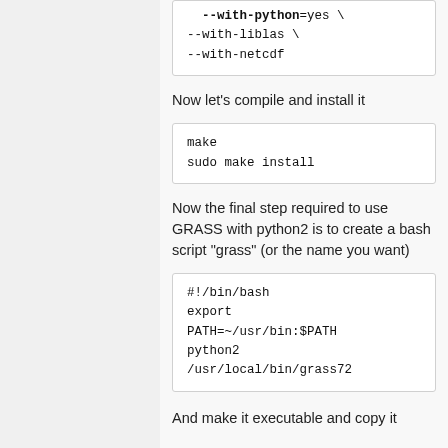--with-python=yes \
--with-liblas \
--with-netcdf
Now let's compile and install it
make
sudo make install
Now the final step required to use GRASS with python2 is to create a bash script "grass" (or the name you want)
#!/bin/bash
export
PATH=~/usr/bin:$PATH
python2
/usr/local/bin/grass72
And make it executable and copy it